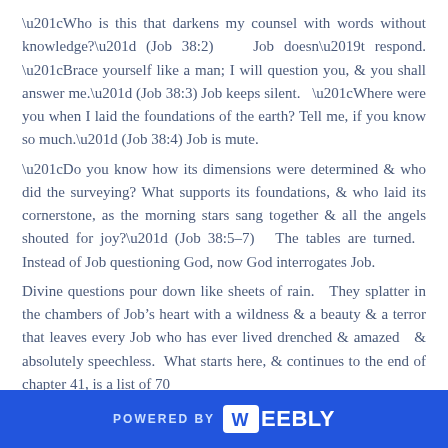“Who is this that darkens my counsel with words without knowledge?” (Job 38:2)  Job doesn’t respond.  “Brace yourself like a man; I will question you, & you shall answer me.” (Job 38:3)  Job keeps silent.  “Where were you when I laid the foundations of the earth?  Tell me, if you know so much.” (Job 38:4)  Job is mute.
“Do you know how its dimensions were determined & who did the surveying?  What supports its foundations, & who laid its cornerstone, as the morning stars sang together & all the angels shouted for joy?” (Job 38:5–7)  The tables are turned.  Instead of Job questioning God, now God interrogates Job.
Divine questions pour down like sheets of rain.  They splatter in the chambers of Job’s heart with a wildness & a beauty & a terror that leaves every Job who has ever lived drenched & amazed  & absolutely speechless.  What starts here, & continues to the end of chapter 41, is a list of 70
POWERED BY weebly